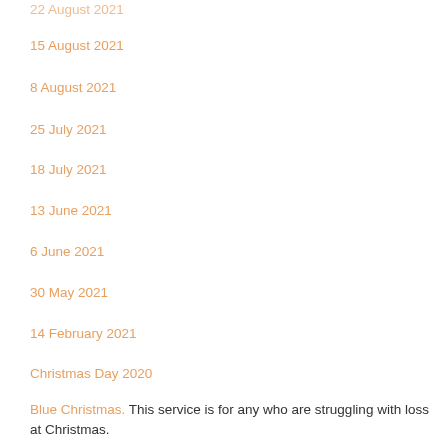22 August 2021
15 August 2021
8 August 2021
25 July 2021
18 July 2021
13 June 2021
6 June 2021
30 May 2021
14 February 2021
Christmas Day 2020
Blue Christmas. This service is for any who are struggling with loss at Christmas.